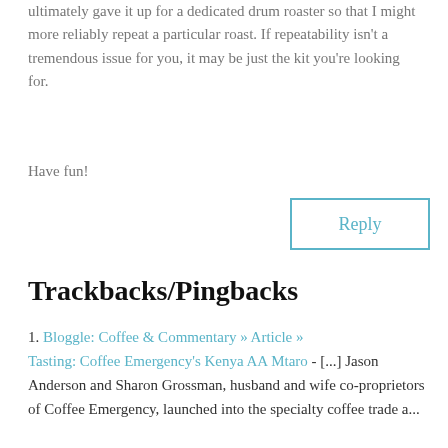ultimately gave it up for a dedicated drum roaster so that I might more reliably repeat a particular roast. If repeatability isn't a tremendous issue for you, it may be just the kit you're looking for.
Have fun!
Reply
Trackbacks/Pingbacks
1. Bloggle: Coffee & Commentary » Article » Tasting: Coffee Emergency's Kenya AA Mtaro - [...] Jason Anderson and Sharon Grossman, husband and wife co-proprietors of Coffee Emergency, launched into the specialty coffee trade a...